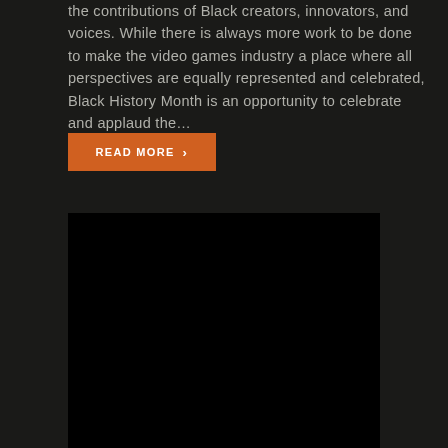the contributions of Black creators, innovators, and voices. While there is always more work to be done to make the video games industry a place where all perspectives are equally represented and celebrated, Black History Month is an opportunity to celebrate and applaud the...
READ MORE ›
[Figure (photo): A large black rectangular image placeholder, possibly a video thumbnail or photograph with no visible content.]